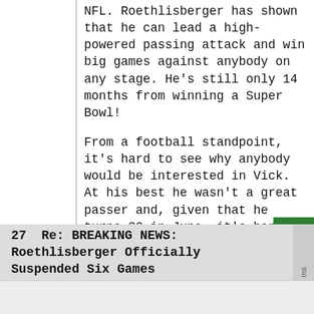NFL. Roethlisberger has shown that he can lead a high-powered passing attack and win big games against anybody on any stage. He's still only 14 months from winning a Super Bowl!
From a football standpoint, it's hard to see why anybody would be interested in Vick. At his best he wasn't a great passer and, given that he turns 30 in June, it's hard to see him regaining his form as a dangerous runner.
27  Re: BREAKING NEWS: Roethlisberger Officially Suspended Six Games